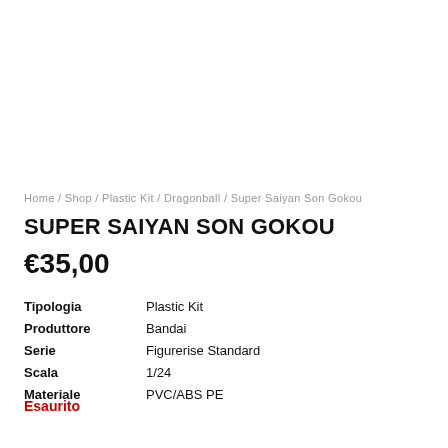Home / Shop / Plastic Kit / Dragonball / Super Saiyan Son Gokou
SUPER SAIYAN SON GOKOU
€35,00
| Tipologia | Plastic Kit |
| Produttore | Bandai |
| Serie | Figurerise Standard |
| Scala | 1/24 |
| Materiale | PVC/ABS PE |
Esaurito